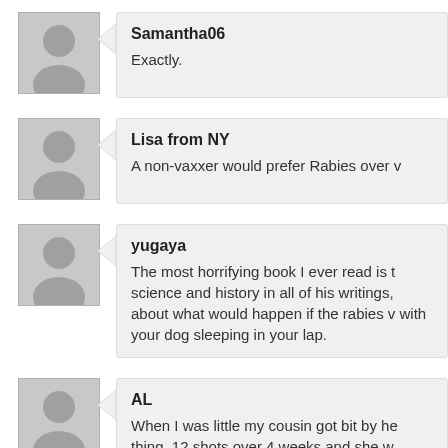Samantha06
Exactly.
Lisa from NY
A non-vaxxer would prefer Rabies over v
yugaya
The most horrifying book I ever read is t science and history in all of his writings, about what would happen if the rabies v with your dog sleeping in your lap.
AL
When I was little my cousin got bit by he thing..12 shots over 4 weeks and she w